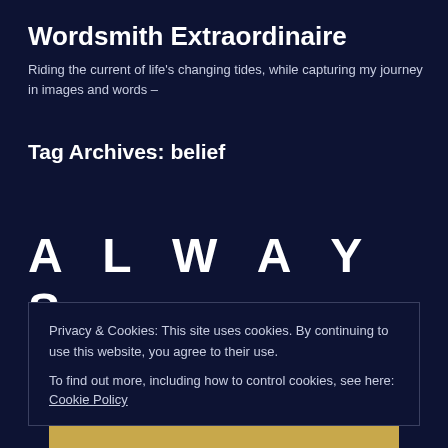Wordsmith Extraordinaire
Riding the current of life's changing tides, while capturing my journey in images and words –
Tag Archives: belief
A L W A Y S
Privacy & Cookies: This site uses cookies. By continuing to use this website, you agree to their use.
To find out more, including how to control cookies, see here: Cookie Policy
Close and accept